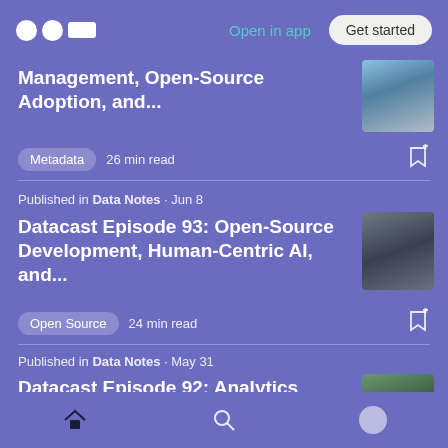Open in app  Get started
Management, Open-Source Adoption, and...
Metadata  26 min read
Published in Data Notes · Jun 8
Datacast Episode 93: Open-Source Development, Human-Centric AI, and...
Open Source  24 min read
Published in Data Notes · May 31
Datacast Episode 92: Analytics Engineering, Locally Optimistic, and Marketing Mix...
Home  Search  Profile